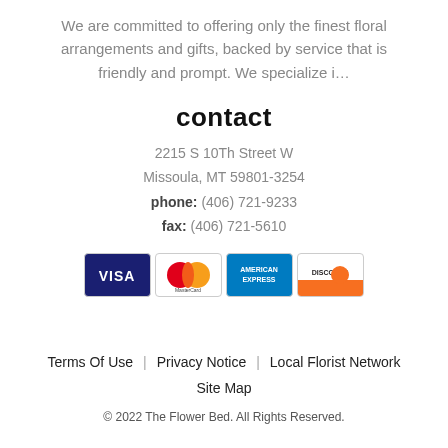We are committed to offering only the finest floral arrangements and gifts, backed by service that is friendly and prompt. We specialize i…
contact
2215 S 10Th Street W
Missoula, MT 59801-3254
phone: (406) 721-9233
fax: (406) 721-5610
[Figure (other): Credit card logos: Visa, MasterCard, American Express, Discover]
Terms Of Use | Privacy Notice | Local Florist Network
Site Map
© 2022 The Flower Bed. All Rights Reserved.